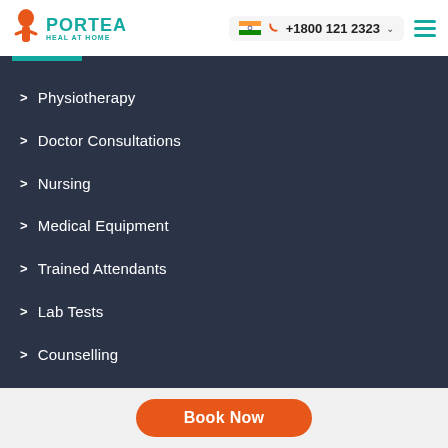PORTEA HEAL AT HOME | +1800 121 2323
Physiotherapy
Doctor Consultations
Nursing
Medical Equipment
Trained Attendants
Lab Tests
Counselling
Book Now